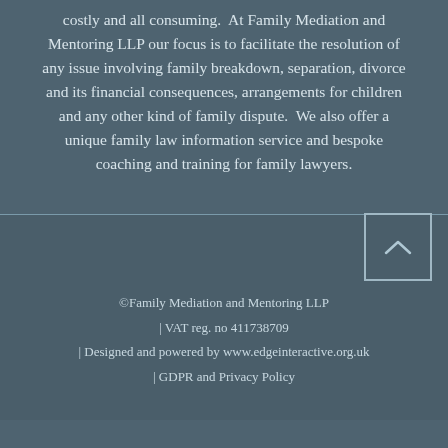costly and all consuming. At Family Mediation and Mentoring LLP our focus is to facilitate the resolution of any issue involving family breakdown, separation, divorce and its financial consequences, arrangements for children and any other kind of family dispute. We also offer a unique family law information service and bespoke coaching and training for family lawyers.
©Family Mediation and Mentoring LLP | VAT reg. no 411738709 | Designed and powered by www.edgeinteractive.org.uk | GDPR and Privacy Policy